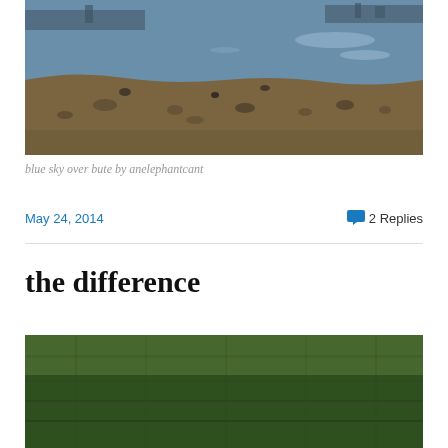[Figure (photo): Coastal scene with rocky shoreline and blue sea water, with land visible in the background. Sky is overcast. Photo taken from elevated position looking toward the water.]
blue sky over bute by anelephantcant
May 24, 2014
2 Replies
the difference
[Figure (photo): Photo showing a green grassy field or lawn with dark tones, partial view cut off at bottom of page.]